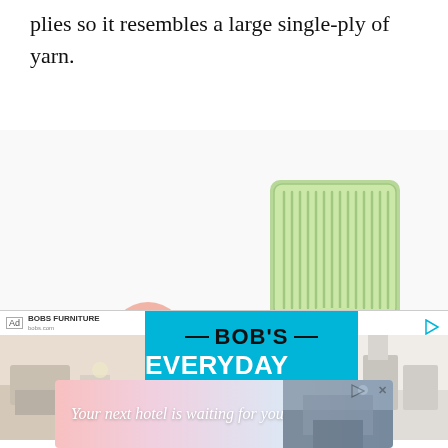plies so it resembles a large single-ply of yarn.
[Figure (photo): A green slicker/comb brush tool with a dark green handle, and a small pink pom-pom ball placed next to it on a white background.]
[Figure (photo): Advertisement banner for Bob's Furniture showing 'BOB'S EVERYDAY LOW PRICES BEAT' text on a cyan/turquoise background, flanked by two room interior photos.]
[Figure (photo): A horizontal advertisement banner with gradient pink-to-blue background reading 'Your next hotel is waiting for you' with a hotel photo on the right.]